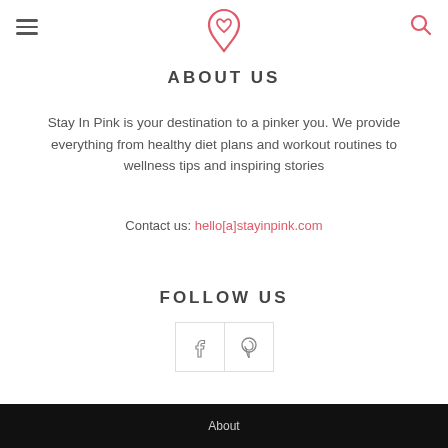[Figure (logo): Stay In Pink logo — a stylized heart/pin icon in coral/salmon color, centered at top of page]
ABOUT US
Stay In Pink is your destination to a pinker you. We provide everything from healthy diet plans and workout routines to wellness tips and inspiring stories
Contact us: hello[a]stayinpink.com
FOLLOW US
[Figure (illustration): Two social media icon buttons side by side: Facebook (f) and Pinterest (P), styled with thin border outlines]
About